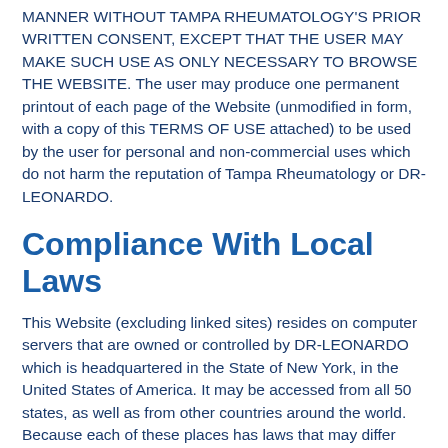MANNER WITHOUT Tampa Rheumatology'S PRIOR WRITTEN CONSENT, EXCEPT THAT THE USER MAY MAKE SUCH USE AS ONLY NECESSARY TO BROWSE THE WEBSITE. The user may produce one permanent printout of each page of the Website (unmodified in form, with a copy of this TERMS OF USE attached) to be used by the user for personal and non-commercial uses which do not harm the reputation of Tampa Rheumatology or DR-LEONARDO.
Compliance With Local Laws
This Website (excluding linked sites) resides on computer servers that are owned or controlled by DR-LEONARDO which is headquartered in the State of New York, in the United States of America. It may be accessed from all 50 states, as well as from other countries around the world. Because each of these places has laws that may differ from those of New York, by accessing this Website you agree that the statutes and laws of the State of New York, without regard to conflicts of law principles thereof, will apply to all matters arising from or relating to the use of this Website. Tampa Rheumatology and